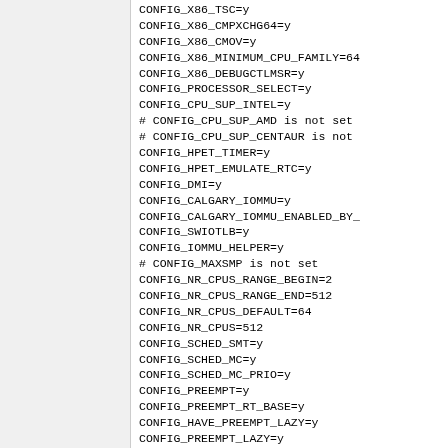CONFIG_X86_TSC=y
CONFIG_X86_CMPXCHG64=y
CONFIG_X86_CMOV=y
CONFIG_X86_MINIMUM_CPU_FAMILY=64
CONFIG_X86_DEBUGCTLMSR=y
CONFIG_PROCESSOR_SELECT=y
CONFIG_CPU_SUP_INTEL=y
# CONFIG_CPU_SUP_AMD is not set
# CONFIG_CPU_SUP_CENTAUR is not
CONFIG_HPET_TIMER=y
CONFIG_HPET_EMULATE_RTC=y
CONFIG_DMI=y
CONFIG_CALGARY_IOMMU=y
CONFIG_CALGARY_IOMMU_ENABLED_BY_
CONFIG_SWIOTLB=y
CONFIG_IOMMU_HELPER=y
# CONFIG_MAXSMP is not set
CONFIG_NR_CPUS_RANGE_BEGIN=2
CONFIG_NR_CPUS_RANGE_END=512
CONFIG_NR_CPUS_DEFAULT=64
CONFIG_NR_CPUS=512
CONFIG_SCHED_SMT=y
CONFIG_SCHED_MC=y
CONFIG_SCHED_MC_PRIO=y
CONFIG_PREEMPT=y
CONFIG_PREEMPT_RT_BASE=y
CONFIG_HAVE_PREEMPT_LAZY=y
CONFIG_PREEMPT_LAZY=y
# CONFIG_PREEMPT_NONE is not set
# CONFIG_PREEMPT_VOLUNTARY is no
# CONFIG_PREEMPT__LL is not set
# CONFIG_PREEMPT_RTB is not set
CONFIG_PREEMPT_RT_FULL=y